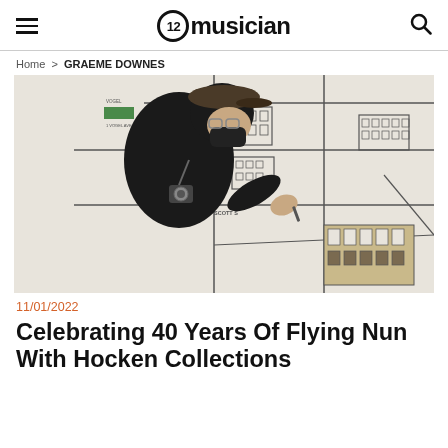12musician
Home > GRAEME DOWNES
[Figure (photo): A person wearing a black outfit, cap, and face mask working on a large illustrated map on a white wall. The map shows street layouts and building illustrations.]
11/01/2022
Celebrating 40 Years Of Flying Nun With Hocken Collections